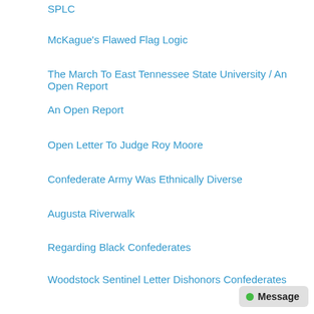SPLC
McKague's Flawed Flag Logic
The March To East Tennessee State University / An Open Report
An Open Report
Open Letter To Judge Roy Moore
Confederate Army Was Ethnically Diverse
Augusta Riverwalk
Regarding Black Confederates
Woodstock Sentinel Letter Dishonors Confederates
New England Hypocrisy
Lincoln Letter #3